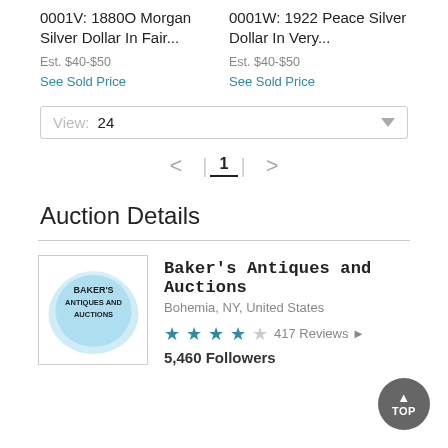0001V: 1880O Morgan Silver Dollar In Fair...
Est. $40-$50
See Sold Price
0001W: 1922 Peace Silver Dollar In Very...
Est. $40-$50
See Sold Price
View: 24
< 1 >
Auction Details
[Figure (logo): Baker's Antiques and Auctions circular logo with light blue background and dark text reading BAKER'S ANTIQUES AND AUCTIONS]
Baker's Antiques and Auctions
Bohemia, NY, United States
417 Reviews
5,460 Followers